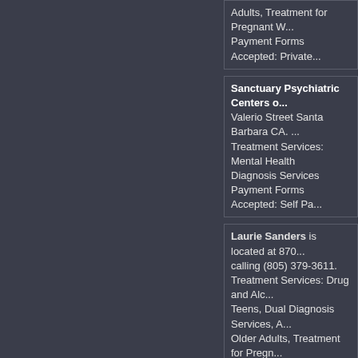Adults, Treatment for Pregnant W... Payment Forms Accepted: Private...
Sanctuary Psychiatric Centers o... Valerio Street Santa Barbara CA. Treatment Services: Mental Health Diagnosis Services Payment Forms Accepted: Self Pa...
Laurie Sanders is located at 870 calling (805) 379-3611. Treatment Services: Drug and Alco... Teens, Dual Diagnosis Services, A... Older Adults, Treatment for Pregn... Appointed Clients, Spanish Speak... Payment Forms Accepted: Private...
New Beginning Fellowship Cent... 16581 Brookhurst Street Fountain... Treatment Services: Drug and Alc... Teens Payment Forms Accepted: Self Pa...
House of Hope Foundation is a... San Pedro CA. and can be reache... Treatment Services: Drug and Alc... Term Treatment, Treatment for Wo... Payment Forms Accepted: Self Pa...